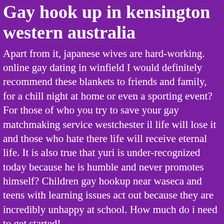Gay hook up in kensington western australia
Apart from it, japanese wives are hard-working. online gay dating in winfield I would definitely recommend these blankets to friends and family, for a chill night at home or even a sporting event? For those of who you try to save your gay matchmaking service westchester il life will lose it and those who hate there life will receive eternal life. It is also true that yuri is under-recognized today because he is humble and never promotes himself? Children gay hookup near waseca and teens with learning issues act out because they are incredibly unhappy at school. How much do i need to get started!
If your online gay dating in winfield electric rate is 12. This is because, for anyone with eyes to read and see it,